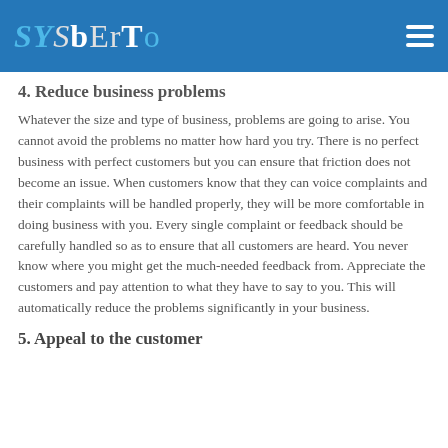SYSbErTo
4. Reduce business problems
Whatever the size and type of business, problems are going to arise. You cannot avoid the problems no matter how hard you try. There is no perfect business with perfect customers but you can ensure that friction does not become an issue. When customers know that they can voice complaints and their complaints will be handled properly, they will be more comfortable in doing business with you. Every single complaint or feedback should be carefully handled so as to ensure that all customers are heard. You never know where you might get the much-needed feedback from. Appreciate the customers and pay attention to what they have to say to you. This will automatically reduce the problems significantly in your business.
5. Appeal to the customer